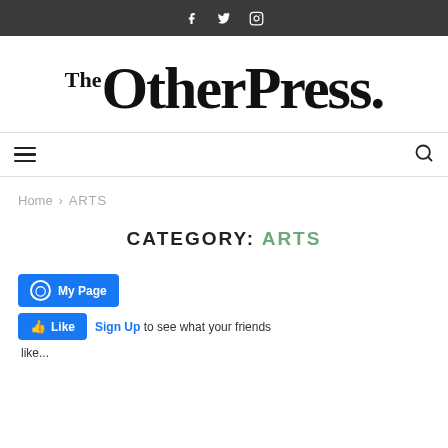f  tw  ig  — social icons top bar
[Figure (logo): The OtherPress. newspaper logo in large serif bold font]
[Figure (screenshot): Navigation bar with hamburger menu icon and search magnifying glass icon]
Home > ARTS
CATEGORY: ARTS
[Figure (screenshot): Facebook widget: My Page button and Like button with Sign Up link text saying 'to see what your friends like...']